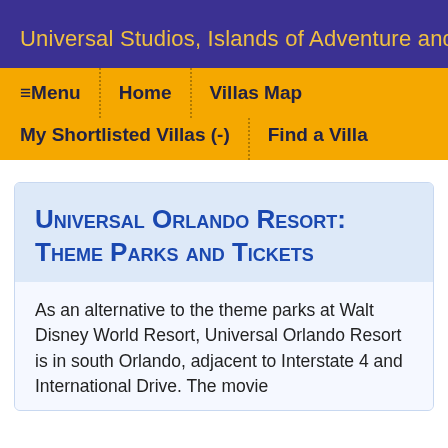Universal Studios, Islands of Adventure and CityWalk
≡ Menu  Home  Villas Map  My Shortlisted Villas (-)  Find a Villa
Universal Orlando Resort: Theme Parks and Tickets
As an alternative to the theme parks at Walt Disney World Resort, Universal Orlando Resort is in south Orlando, adjacent to Interstate 4 and International Drive. The movie